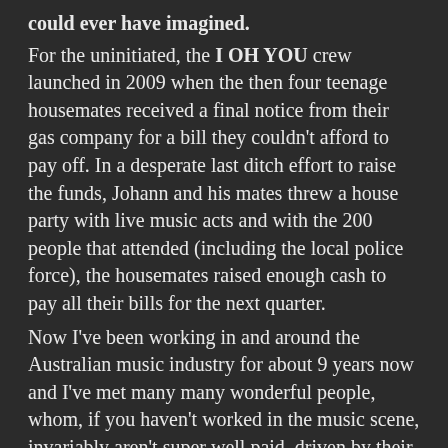could ever have imagined.
For the uninitiated, the I OH YOU crew launched in 2009 when the then four teenage housemates received a final notice from their gas company for a bill they couldn't afford to pay off. In a desperate last ditch effort to raise the funds, Johann and his mates threw a house party with live music acts and with the 200 people that attended (including the local police force), the housemates raised enough cash to pay all their bills for the next quarter.
Now I've been working in and around the Australian music industry for about 9 years now and I've met many many wonderful people, whom, if you haven't worked in the music scene, invariably aren't super well paid, driven by their pure passion for music and hunger to make a difference in the scene or at least make their mark.